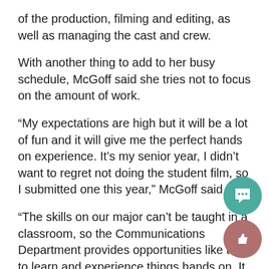of the production, filming and editing, as well as managing the cast and crew.
With another thing to add to her busy schedule, McGoff said she tries not to focus on the amount of work.
“My expectations are high but it will be a lot of fun and it will give me the perfect hands on experience. It’s my senior year, I didn’t want to regret not doing the student film, so I submitted one this year,” McGoff said.
“The skills on our major can’t be taught in a classroom, so the Communications Department provides opportunities like this to learn and experience things hands on. It just depends (on) if you take advantage of these opportunities.”
The film is titled “Student Production,” and is a satire on student films and their filmmakers. The main